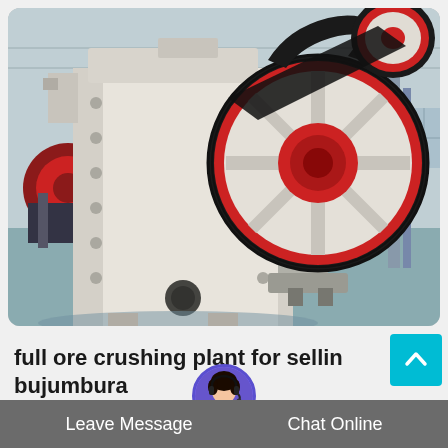[Figure (photo): Jaw crusher machine in an industrial facility. Large white/cream colored jaw crusher with prominent black and red flywheel/pulley visible. Industrial warehouse background with concrete floor. Additional crushing equipment visible in background.]
full ore crushing plant for sellin bujumbura
Leave Message  Crusher Sandvik Ct1612 70 t/h Weig  Chat Online